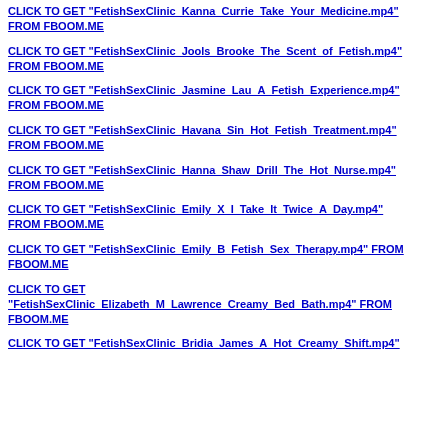CLICK TO GET "FetishSexClinic_Kanna_Currie_Take_Your_Medicine.mp4" FROM FBOOM.ME
CLICK TO GET "FetishSexClinic_Jools_Brooke_The_Scent_of_Fetish.mp4" FROM FBOOM.ME
CLICK TO GET "FetishSexClinic_Jasmine_Lau_A_Fetish_Experience.mp4" FROM FBOOM.ME
CLICK TO GET "FetishSexClinic_Havana_Sin_Hot_Fetish_Treatment.mp4" FROM FBOOM.ME
CLICK TO GET "FetishSexClinic_Hanna_Shaw_Drill_The_Hot_Nurse.mp4" FROM FBOOM.ME
CLICK TO GET "FetishSexClinic_Emily_X_I_Take_It_Twice_A_Day.mp4" FROM FBOOM.ME
CLICK TO GET "FetishSexClinic_Emily_B_Fetish_Sex_Therapy.mp4" FROM FBOOM.ME
CLICK TO GET "FetishSexClinic_Elizabeth_M_Lawrence_Creamy_Bed_Bath.mp4" FROM FBOOM.ME
CLICK TO GET "FetishSexClinic_Bridia_James_A_Hot_Creamy_Shift.mp4"